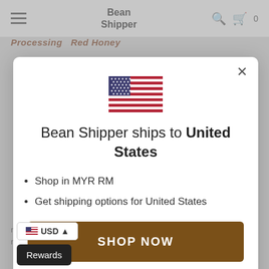Bean Shipper
Processing   Red Honey
[Figure (illustration): US flag emoji/icon centered in modal]
Bean Shipper ships to United States
Shop in MYR RM
Get shipping options for United States
SHOP NOW
CHANGE SHIPPING COUNTRY
USD
Rewards
ne, processing mill or simply by a local ne.